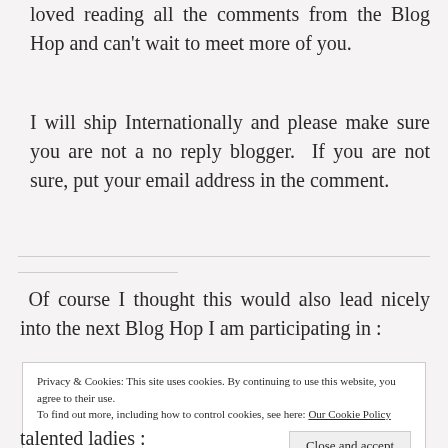loved reading all the comments from the Blog Hop and can't wait to meet more of you.
I will ship Internationally and please make sure you are not a no reply blogger.  If you are not sure, put your email address in the comment.
Of course I thought this would also lead nicely into the next Blog Hop I am participating in :
Privacy & Cookies: This site uses cookies. By continuing to use this website, you agree to their use.
To find out more, including how to control cookies, see here: Our Cookie Policy
talented ladies :